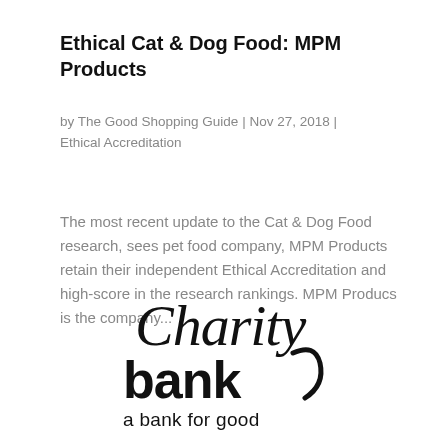Ethical Cat & Dog Food: MPM Products
by The Good Shopping Guide | Nov 27, 2018 | Ethical Accreditation
The most recent update to the Cat & Dog Food research, sees pet food company, MPM Products retain their independent Ethical Accreditation and high-score in the research rankings. MPM Producs is the company...
[Figure (logo): Charity Bank logo — stylized script 'Charity' above bold 'bank' with a curved stroke, and tagline 'a bank for good' below]